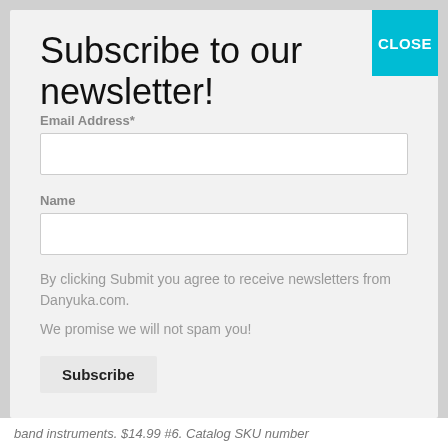Subscribe to our newsletter!
Email Address*
Name
By clicking Submit you agree to receive newsletters from Danyuka.com.
We promise we will not spam you!
Subscribe
band instruments. $14.99 #6. Catalog SKU number